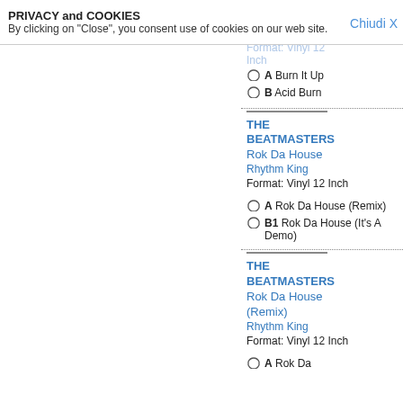PRIVACY and COOKIES
By clicking on "Close", you consent use of cookies on our web site.
Chiudi X
BEATMASTERS
Burn
Rhythm King
Format: Vinyl 12 Inch
A Burn It Up
B Acid Burn
THE BEATMASTERS
Rok Da House
Rhythm King
Format: Vinyl 12 Inch
A Rok Da House (Remix)
B1 Rok Da House (It's A Demo)
THE BEATMASTERS
Rok Da House (Remix)
Rhythm King
Format: Vinyl 12 Inch
A Rok Da